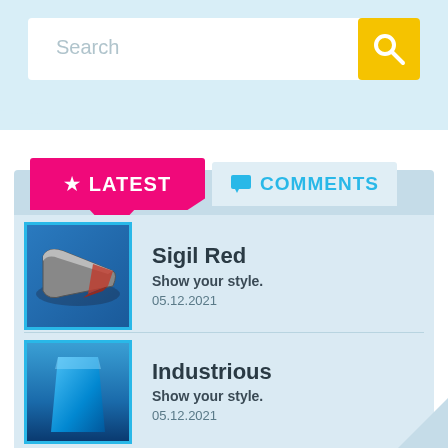[Figure (screenshot): Search bar with placeholder text 'Search' and yellow search button with magnifying glass icon]
LATEST
COMMENTS
Sigil Red
Show your style.
05.12.2021
Industrious
Show your style.
05.12.2021